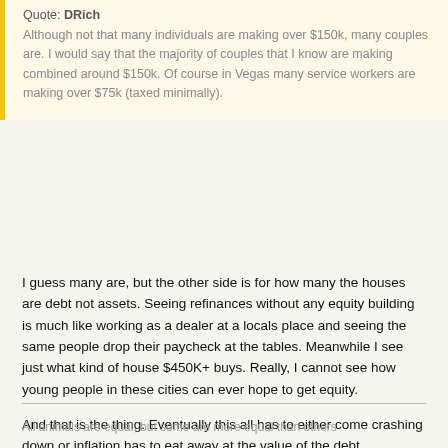Quote: DRich
Although not that many individuals are making over $150k, many couples are. I would say that the majority of couples that I know are making combined around $150k. Of course in Vegas many service workers are making over $75k (taxed minimally).
I guess many are, but the other side is for how many the houses are debt not assets. Seeing refinances without any equity building is much like working as a dealer at a locals place and seeing the same people drop their paycheck at the tables. Meanwhile I see just what kind of house $450K+ buys. Really, I cannot see how young people in these cities can ever hope to get equity.
And that is the thing. Eventually this all has to either come crashing down or inflation has to eat away at the value of the debt.
They should better warn how hard red pilled life is.
All animals are equal, but some are more equal than others